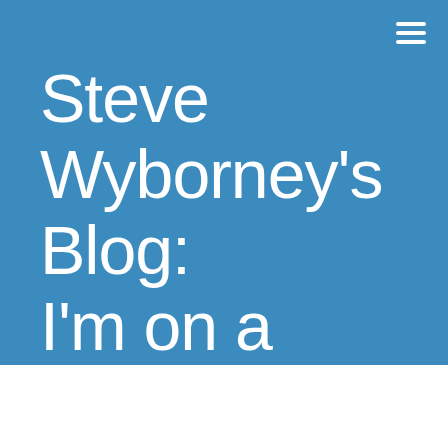[Figure (screenshot): Website header screenshot showing Steve Wyborney's Blog with blue background and hamburger menu icon in top right corner]
Steve Wyborney's Blog: I'm on a Learning Mission.